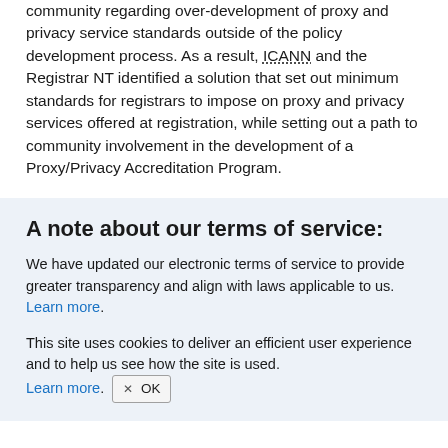community regarding over-development of proxy and privacy service standards outside of the policy development process. As a result, ICANN and the Registrar NT identified a solution that set out minimum standards for registrars to impose on proxy and privacy services offered at registration, while setting out a path to community involvement in the development of a Proxy/Privacy Accreditation Program.
A note about our terms of service:
We have updated our electronic terms of service to provide greater transparency and align with laws applicable to us. Learn more.
This site uses cookies to deliver an efficient user experience and to help us see how the site is used. Learn more. OK